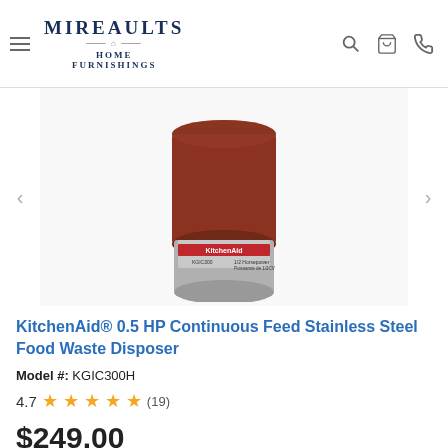Mireaults Home Furnishings — navigation header with menu, search, cart, phone icons
[Figure (photo): KitchenAid garbage disposal unit (model KGIC300) — cylindrical, dark red body with gray base, KitchenAid logo label visible, 1/2 Horsepower text on label]
KitchenAid® 0.5 HP Continuous Feed Stainless Steel Food Waste Disposer
Model #: KGIC300H
4.7 ★★★★☆ (19)
$249.00